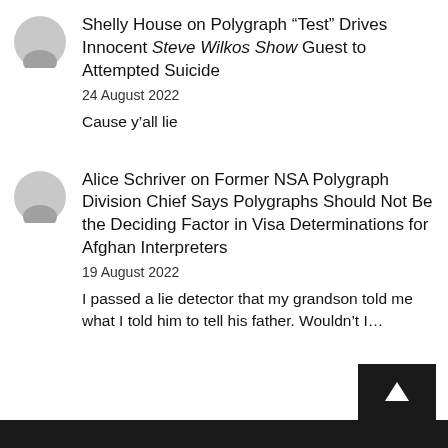Shelly House on Polygraph "Test" Drives Innocent Steve Wilkos Show Guest to Attempted Suicide
24 August 2022
Cause y'all lie
Alice Schriver on Former NSA Polygraph Division Chief Says Polygraphs Should Not Be the Deciding Factor in Visa Determinations for Afghan Interpreters
19 August 2022
I passed a lie detector that my grandson told me what I told him to tell his father. Wouldn't I...